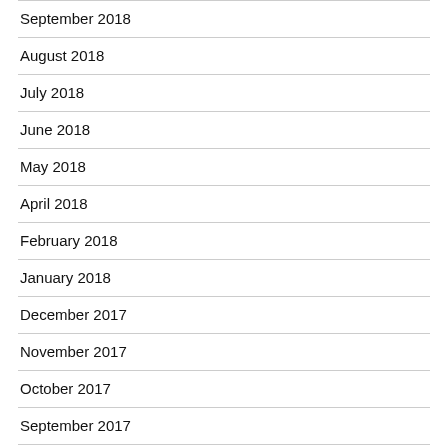September 2018
August 2018
July 2018
June 2018
May 2018
April 2018
February 2018
January 2018
December 2017
November 2017
October 2017
September 2017
August 2017
July 2017
June 2017